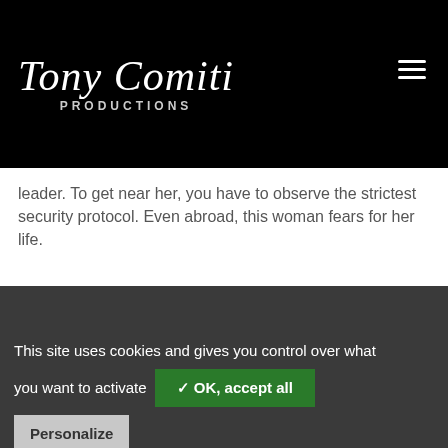Tony Comiti Productions
leader. To get near her, you have to observe the strictest security protocol. Even abroad, this woman fears for her life.
This site uses cookies and gives you control over what you want to activate ✓ OK, accept all Personalize